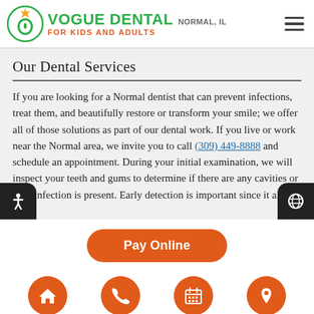Vogue Dental Normal, IL — For Kids and Adults
Our Dental Services
If you are looking for a Normal dentist that can prevent infections, treat them, and beautifully restore or transform your smile; we offer all of those solutions as part of our dental work. If you live or work near the Normal area, we invite you to call (309) 449-8888 and schedule an appointment. During your initial examination, we will inspect your teeth and gums to determine if there are any cavities or if an infection is present. Early detection is important since it allows us
Pay Online
[Figure (other): Bottom navigation icon row with four orange circle icons: home, phone, calendar, location pin]